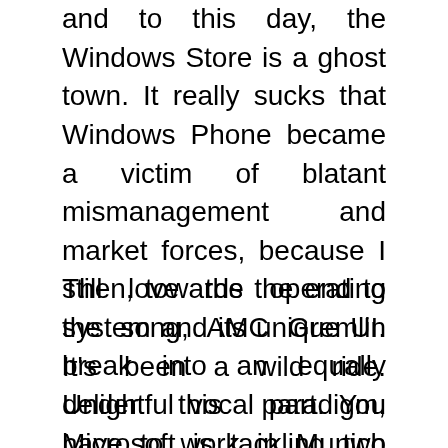and to this day, the Windows Store is a ghost town. It really sucks that Windows Phone became a victim of blatant mismanagement and market forces, because I still love the operating system and its unique UI. It's been a wild ride. Under this paradigm, Microsoft is tackling two key customer challenges: Forklift and lengthy projects for OS version upgrades.
Then, towards the end to the song, AMC Gremlin break into an equally delightful vocal part. You have to work in Munich for this position. En una serie de tweets publicados en su [...] Microsoft declara con tristeza que Windows Phone es un proyecto muerto apareciÃ³ primero en smartGSM. Na Twitteru to potvrdil viceprezident firmy Joe Belfiore. Backup af hotmail-konto Jeg vil gerne lave en backup af mit hotmai-konto